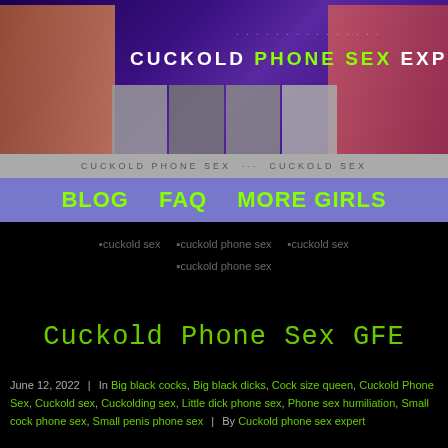[Figure (photo): Website header banner with purple/blue gradient background showing women, with title 'CUCKOLD PHONE SEX EXPERTS' and thumbnail photos]
CUCKOLD PHONE SEX ... CUCKOLD SEX
BLOG   FAQ   MORE GIRLS
[Figure (photo): Four broken image placeholders labeled: cuckold sex, cuckold phone sex, cuckold sex, cuckold phone sex]
Cuckold Phone Sex GFE
June 12, 2022 | In Big black cocks, Big black dicks, Cock size queen, Cuckold Phone Sex, Cuckold sex, Cuckolding sex, Little dick phone sex, Phone sex humiliation, Small cock phone sex, Small penis phone sex | By Cuckold phone sex expert